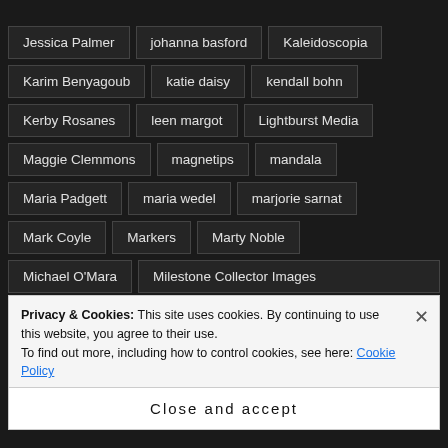Jessica Palmer
johanna basford
Kaleidoscopia
Karim Benyagoub
katie daisy
kendall bohn
Kerby Rosanes
leen margot
Lightburst Media
Maggie Clemmons
magnetips
mandala
Maria Padgett
maria wedel
marjorie sarnat
Mark Coyle
Markers
Marty Noble
Michael O'Mara
Milestone Collector Images
Millie Marotta
Monique Van Dijk
Privacy & Cookies: This site uses cookies. By continuing to use this website, you agree to their use. To find out more, including how to control cookies, see here: Cookie Policy
Close and accept